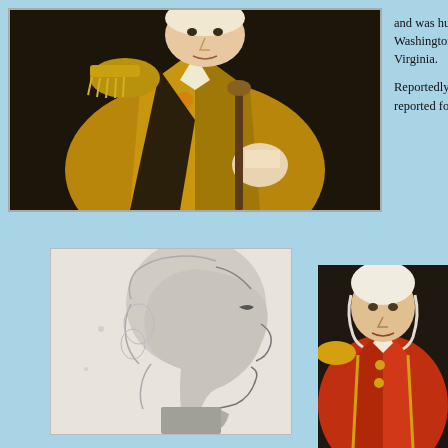[Figure (photo): Portrait painting of a colonial-era military officer in yellow/gold coat with epaulette, facing slightly left, dark background]
and was hung side with C.W. Washington. B Washington & Virginia.

Reportedly, La Washington in reported for du to teach." Evid
[Figure (illustration): Black and white profile sketch/engraving of a man facing left with powdered wig/curly hair, colonial era style]
[Figure (photo): Color portrait of a man in colonial-era military uniform with red/orange jacket, partially cropped]